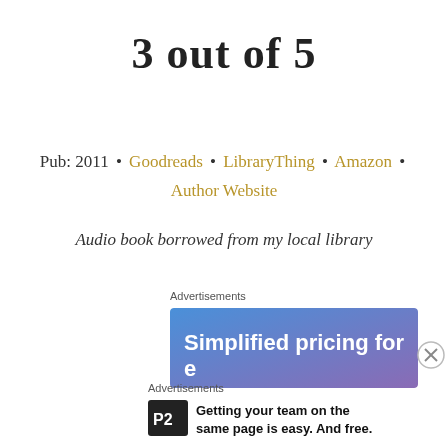3 out of 5
Pub: 2011 • Goodreads • LibraryThing • Amazon • Author Website
Audio book borrowed from my local library
Advertisements
[Figure (other): Advertisement banner with blue-purple gradient background showing text 'Simplified pricing for']
Advertisements
Getting your team on the same page is easy. And free.